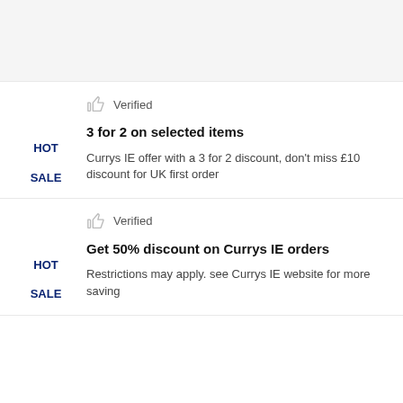Verified
3 for 2 on selected items
Currys IE offer with a 3 for 2 discount, don't miss £10 discount for UK first order
HOT SALE
Verified
Get 50% discount on Currys IE orders
Restrictions may apply. see Currys IE website for more saving
HOT SALE